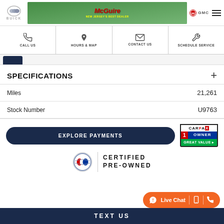McGuire Buick GMC - New Jersey's Best Dealer
SPECIFICATIONS
| Specification | Value |
| --- | --- |
| Miles | 21,261 |
| Stock Number | U9763 |
[Figure (logo): CARFAX 1 Owner Great Value badge]
[Figure (logo): Buick Certified Pre-Owned logo and text]
EXPLORE PAYMENTS
Live Chat
TEXT US